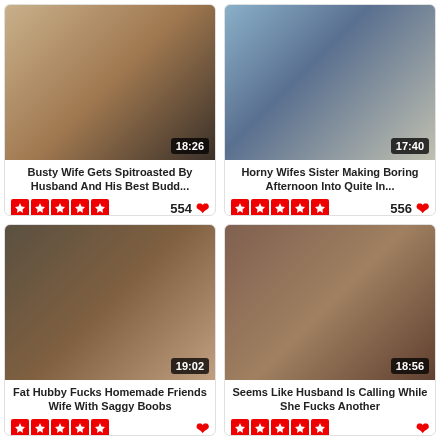[Figure (screenshot): Video thumbnail 1 with duration 18:26]
Busty Wife Gets Spitroasted By Husband And His Best Budd...
554
[Figure (screenshot): Video thumbnail 2 with duration 17:40]
Horny Wifes Sister Making Boring Afternoon Into Quite In...
556
[Figure (screenshot): Video thumbnail 3 with duration 19:02]
Fat Hubby Fucks Homemade Friends Wife With Saggy Boobs
[Figure (screenshot): Video thumbnail 4 with duration 18:56]
Seems Like Husband Is Calling While She Fucks Another